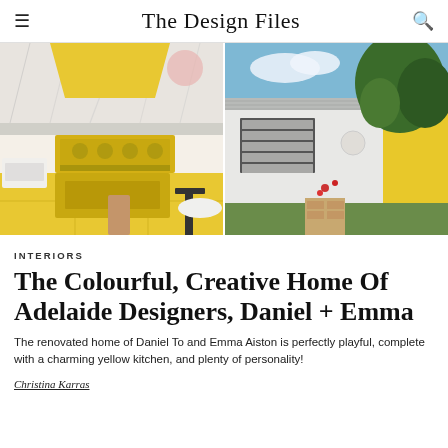The Design Files
[Figure (photo): Two side-by-side photos: left shows a yellow kitchen with marble backsplash and yellow range cooker; right shows the exterior of a house with yellow wall and garden.]
INTERIORS
The Colourful, Creative Home Of Adelaide Designers, Daniel + Emma
The renovated home of Daniel To and Emma Aiston is perfectly playful, complete with a charming yellow kitchen, and plenty of personality!
Christina Karras